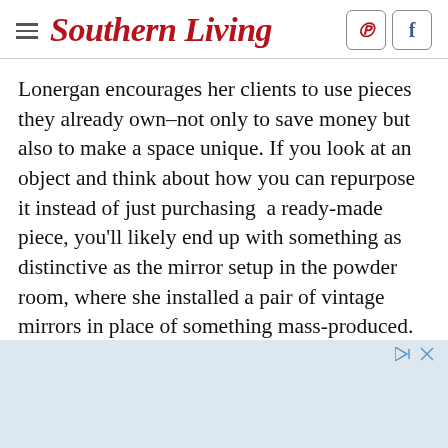Southern Living
Lonergan encourages her clients to use pieces they already own–not only to save money but also to make a space unique. If you look at an object and think about how you can repurpose it instead of just purchasing a ready-made piece, you'll likely end up with something as distinctive as the mirror setup in the powder room, where she installed a pair of vintage mirrors in place of something mass-produced. She also decided to paint the floor navy instead of installing new tile.
[Figure (other): Advertisement banner at the bottom of the page with light blue background]